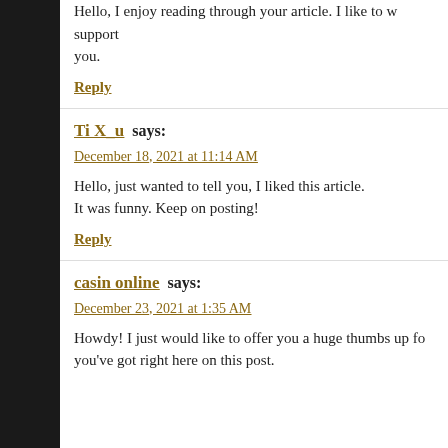Hello, I enjoy reading through your article. I like to w... support you.
Reply
Ti X_u says:
December 18, 2021 at 11:14 AM
Hello, just wanted to tell you, I liked this article. It was funny. Keep on posting!
Reply
casin online says:
December 23, 2021 at 1:35 AM
Howdy! I just would like to offer you a huge thumbs up fo... you've got right here on this post.